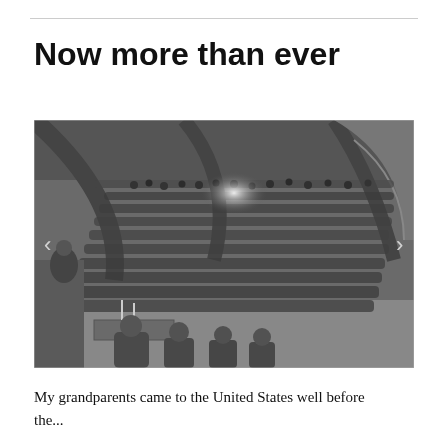Now more than ever
[Figure (photo): Black and white historical photograph showing a large crowd of people seated in rows inside a large hall or warehouse-like building. A speaker or presenter appears at the left side near a table with candles. The crowd fills most of the frame facing toward the front.]
My grandparents came to the United States well before the...